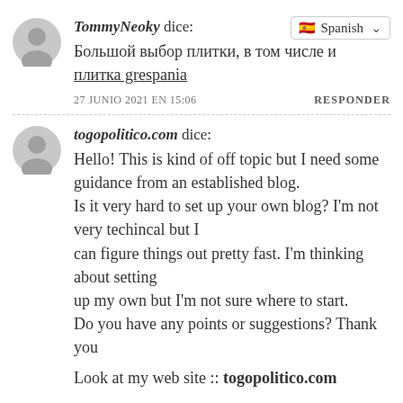TommyNeoky dice: Spanish [dropdown]
Большой выбор плитки, в том числе и плитка grespania
27 JUNIO 2021 EN 15:06   RESPONDER
togopolitico.com dice:
Hello! This is kind of off topic but I need some guidance from an established blog. Is it very hard to set up your own blog? I'm not very techincal but I can figure things out pretty fast. I'm thinking about setting up my own but I'm not sure where to start. Do you have any points or suggestions? Thank you
Look at my web site :: togopolitico.com